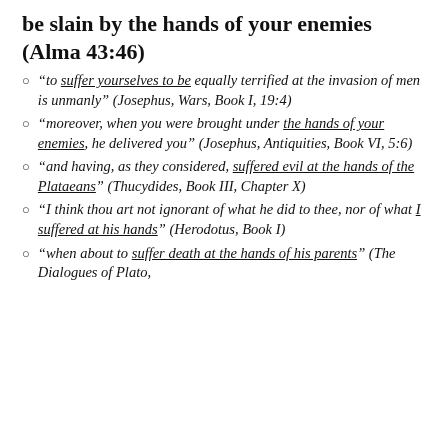be slain by the hands of your enemies (Alma 43:46)
“to suffer yourselves to be equally terrified at the invasion of men is unmanly” (Josephus, Wars, Book I, 19:4)
“moreover, when you were brought under the hands of your enemies, he delivered you” (Josephus, Antiquities, Book VI, 5:6)
“and having, as they considered, suffered evil at the hands of the Plataeans” (Thucydides, Book III, Chapter X)
“I think thou art not ignorant of what he did to thee, nor of what I suffered at his hands” (Herodotus, Book I)
“when about to suffer death at the hands of his parents” (The Dialogues of Plato,